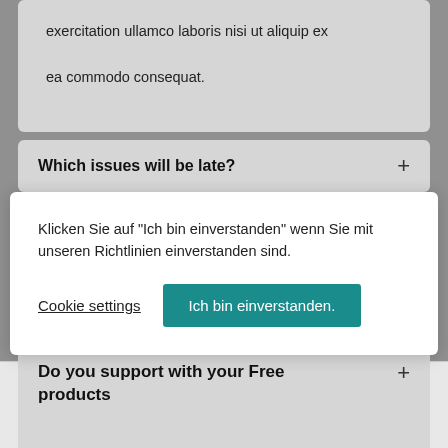exercitation ullamco laboris nisi ut aliquip ex ea commodo consequat.
Which issues will be late?
Klicken Sie auf "Ich bin einverstanden" wenn Sie mit unseren Richtlinien einverstanden sind.
Cookie settings
Ich bin einverstanden.
Do you support with your Free products
Shop   Vergleichen   Search   Wunschliste